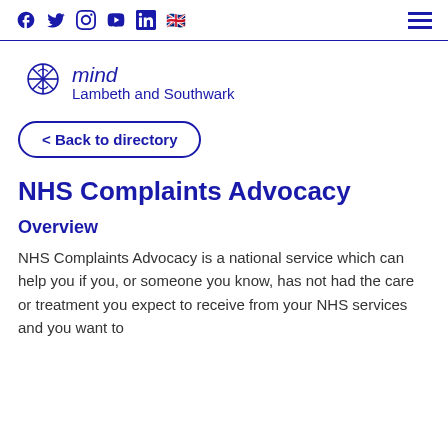Social icons: Facebook, Twitter, Instagram, YouTube, LinkedIn, UK flag | Hamburger menu
[Figure (logo): Mind Lambeth and Southwark logo with stylized star/asterisk icon and text]
< Back to directory
NHS Complaints Advocacy
Overview
NHS Complaints Advocacy is a national service which can help you if you, or someone you know, has not had the care or treatment you expect to receive from your NHS services and you want to